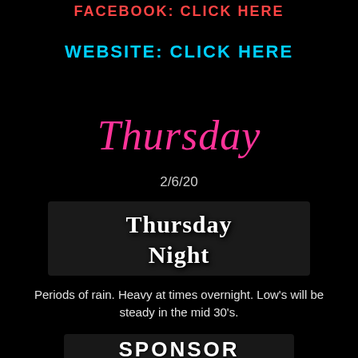FACEBOOK: CLICK HERE
WEBSITE: CLICK HERE
Thursday
2/6/20
Thursday Night
Periods of rain. Heavy at times overnight. Low's will be steady in the mid 30's.
SPONSOR